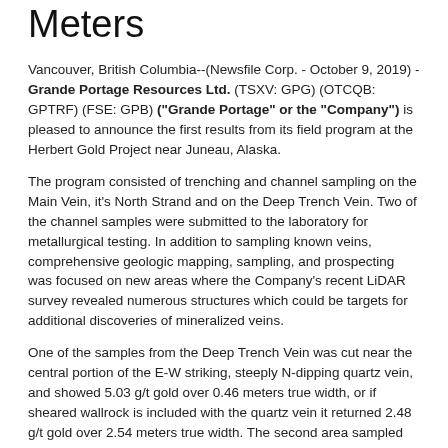Meters
Vancouver, British Columbia--(Newsfile Corp. - October 9, 2019) - Grande Portage Resources Ltd. (TSXV: GPG) (OTCQB: GPTRF) (FSE: GPB) ("Grande Portage" or the "Company") is pleased to announce the first results from its field program at the Herbert Gold Project near Juneau, Alaska.
The program consisted of trenching and channel sampling on the Main Vein, it's North Strand and on the Deep Trench Vein. Two of the channel samples were submitted to the laboratory for metallurgical testing. In addition to sampling known veins, comprehensive geologic mapping, sampling, and prospecting was focused on new areas where the Company's recent LiDAR survey revealed numerous structures which could be targets for additional discoveries of mineralized veins.
One of the samples from the Deep Trench Vein was cut near the central portion of the E-W striking, steeply N-dipping quartz vein, and showed 5.03 g/t gold over 0.46 meters true width, or if sheared wallrock is included with the quartz vein it returned 2.48 g/t gold over 2.54 meters true width. The second area sampled on the Deep Trench lies near the western end of the structure and was taken for the purpose of metallurgical testing. Preliminary results on this sample